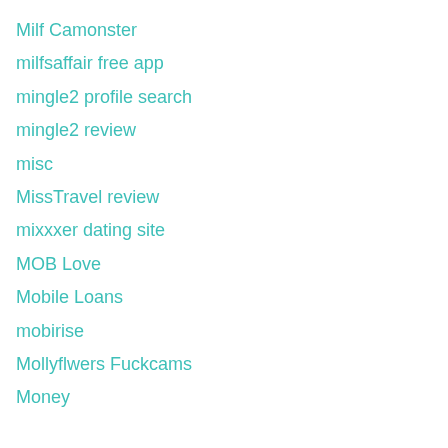Milf Camonster
milfsaffair free app
mingle2 profile search
mingle2 review
misc
MissTravel review
mixxxer dating site
MOB Love
Mobile Loans
mobirise
Mollyflwers Fuckcams
Money